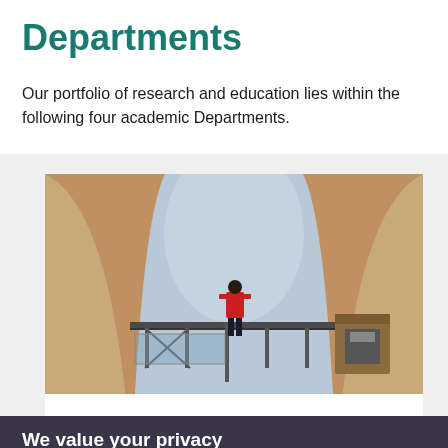Departments
Our portfolio of research and education lies within the following four academic Departments.
[Figure (photo): A person in a red jacket standing on a metal scaffold/platform inside a dramatic architectural space with tall curved concrete or sandy-coloured walls opening to the sky]
Department of Architecture and the Built Environment
We value your privacy